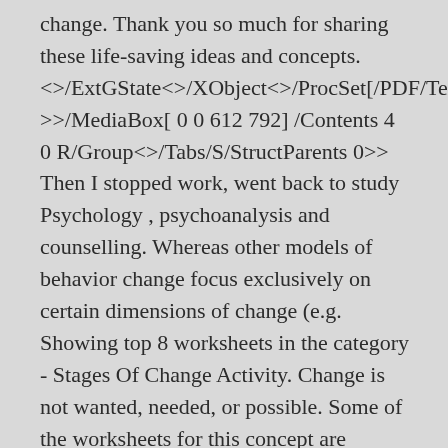change. Thank you so much for sharing these life-saving ideas and concepts. <>/ExtGState<>/XObject<>/ProcSet[/PDF/Text/ >>/MediaBox[ 0 0 612 792] /Contents 4 0 R/Group<>/Tabs/S/StructParents 0>> Then I stopped work, went back to study Psychology , psychoanalysis and counselling. Whereas other models of behavior change focus exclusively on certain dimensions of change (e.g. Showing top 8 worksheets in the category - Stages Of Change Activity. Change is not wanted, needed, or possible. Some of the worksheets for this concept are Change plan work, Assessing your stage of change work, Stages of change, Stages of change scenario activity answers, The stages